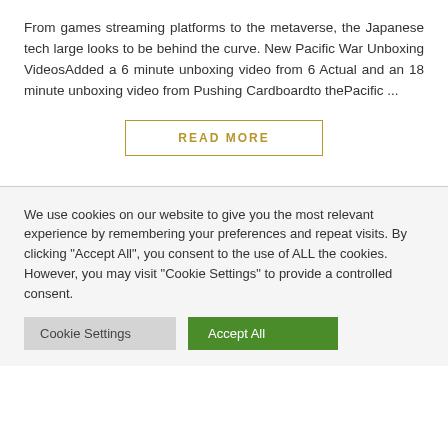From games streaming platforms to the metaverse, the Japanese tech large looks to be behind the curve. New Pacific War Unboxing VideosAdded a 6 minute unboxing video from 6 Actual and an 18 minute unboxing video from Pushing Cardboardto thePacific ...
READ MORE
We use cookies on our website to give you the most relevant experience by remembering your preferences and repeat visits. By clicking "Accept All", you consent to the use of ALL the cookies. However, you may visit "Cookie Settings" to provide a controlled consent.
Cookie Settings
Accept All